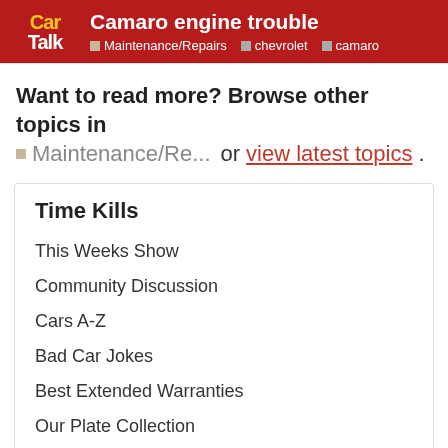Camaro engine trouble | Maintenance/Repairs | chevrolet | camaro
Want to read more? Browse other topics in Maintenance/Re... or view latest topics.
Time Kills
This Weeks Show
Community Discussion
Cars A-Z
Bad Car Jokes
Best Extended Warranties
Our Plate Collection